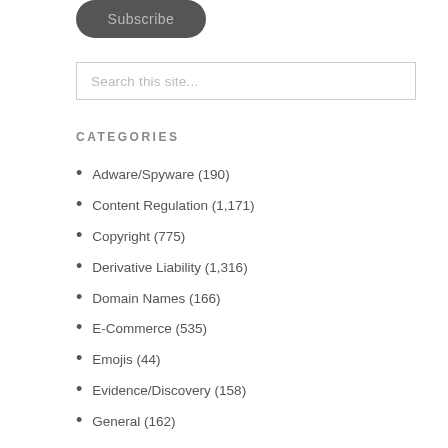[Figure (other): Subscribe button, dark rounded rectangle with gray text]
Search this site...
CATEGORIES
Adware/Spyware (190)
Content Regulation (1,171)
Copyright (775)
Derivative Liability (1,316)
Domain Names (166)
E-Commerce (535)
Emojis (44)
Evidence/Discovery (158)
General (162)
Internet History (229)
Licensing/Contracts (645)